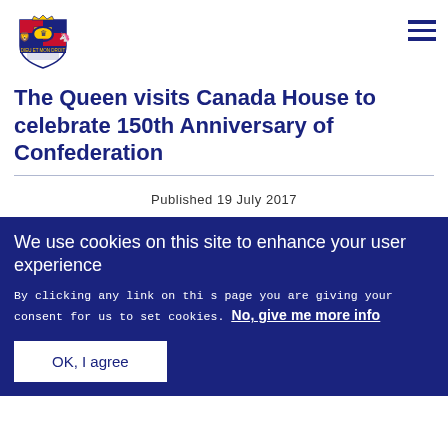[Figure (logo): UK Government Royal coat of arms logo in dark navy blue]
The Queen visits Canada House to celebrate 150th Anniversary of Confederation
Published 19 July 2017
We use cookies on this site to enhance your user experience
By clicking any link on this page you are giving your consent for us to set cookies. No, give me more info
OK, I agree